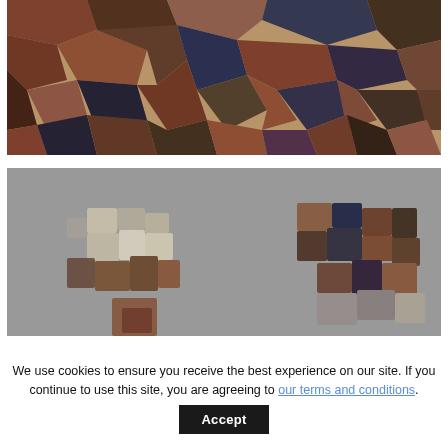[Figure (photo): Close-up photo of colorful cobblestones or rocks on the ground, showing reddish-brown, dark blue-grey, and sandy colored stones packed together.]
[Figure (photo): Puzzle screenshot of a jigsaw puzzle game showing 'Vecriga, Riga, Latvia' — dispersed puzzle pieces on a grey background depicting a cobblestone street scene.]
We use cookies to ensure you receive the best experience on our site. If you continue to use this site, you are agreeing to our terms and conditions.